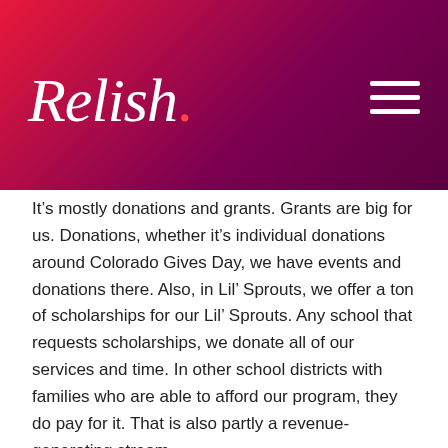[Figure (logo): Relish logo in white italic script on red-to-dark-pink gradient header, with hamburger menu icon on the right]
It’s mostly donations and grants. Grants are big for us. Donations, whether it’s individual donations around Colorado Gives Day, we have events and donations there. Also, in Lil’ Sprouts, we offer a ton of scholarships for our Lil’ Sprouts. Any school that requests scholarships, we donate all of our services and time. In other school districts with families who are able to afford our program, they do pay for it. That is also partly a revenue-generating stream.
You mentioned that you were able to transition that from exclusively in-person to more of a virtual scenario. It sounds like you are going back to either a blend or at